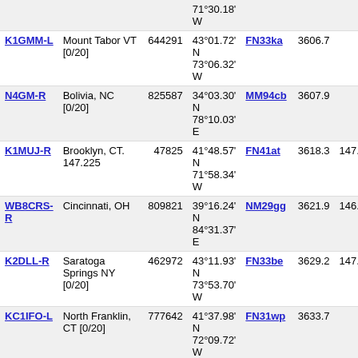| Callsign | Location | ID | Coordinates | Grid | Dist | Freq |
| --- | --- | --- | --- | --- | --- | --- |
| K1GMM-L | Mount Tabor VT [0/20] | 644291 | 43°01.72' N 73°06.32' W | FN33ka | 3606.7 |  |
| N4GM-R | Bolivia, NC [0/20] | 825587 | 34°03.30' N 78°10.03' E | MM94cb | 3607.9 |  |
| K1MUJ-R | Brooklyn, CT. 147.225 | 47825 | 41°48.57' N 71°58.34' W | FN41at | 3618.3 | 147.2 |
| WB8CRS-R | Cincinnati, OH | 809821 | 39°16.24' N 84°31.37' E | NM29gg | 3621.9 | 146.8 |
| K2DLL-R | Saratoga Springs NY [0/20] | 462972 | 43°11.93' N 73°53.70' W | FN33be | 3629.2 | 147.0 |
| KC1IFO-L | North Franklin, CT [0/20] | 777642 | 41°37.98' N 72°09.72' W | FN31wp | 3633.7 |  |
| NA1CN-R | 146.730 Norwich CT | 711268 | 41°31.10' N 72°06.07' W | FN31wm | 3636.6 | 146.7 |
| WI2RES-L | Great Sacandaga Lake NY | 897611 | 43°09.12' N 74°08.57' W | FN23wd | 3640.7 | 146.5 |
| KC1QVT-L | Home [0/20] | 879893 | 41°46.56' N 72°31.29' W | FN31rs | 3641.2 |  |
| W1DX-R | SALEM, CONNECTICUT | 342027 | 41°27.77' N 72°14.75' W | FN31vl | 3644.8 |  |
| W9ROY-L | midlothian,il [0/20] | 594047 | 41°36.48' N 87°51.66' E | NN31wo | 3645.8 |  |
| KC2IVI-R | East Greenbush, NY | 48899 | 42°36.19' N 73°43.26' W | FN32do | 3649.6 | 147.3 |